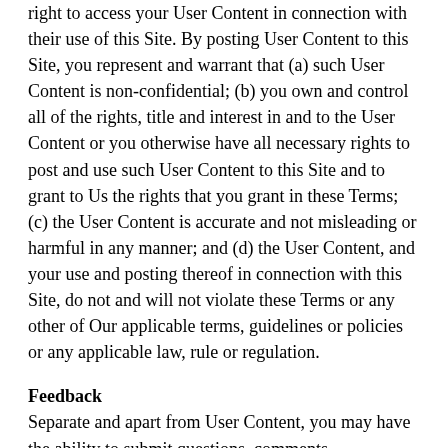right to access your User Content in connection with their use of this Site. By posting User Content to this Site, you represent and warrant that (a) such User Content is non-confidential; (b) you own and control all of the rights, title and interest in and to the User Content or you otherwise have all necessary rights to post and use such User Content to this Site and to grant to Us the rights that you grant in these Terms; (c) the User Content is accurate and not misleading or harmful in any manner; and (d) the User Content, and your use and posting thereof in connection with this Site, do not and will not violate these Terms or any other of Our applicable terms, guidelines or policies or any applicable law, rule or regulation.
Feedback
Separate and apart from User Content, you may have the ability to submit questions, comments suggestions, reviews, ideas, plans, designs, notes, proposals, drawings, original or creative materials and other information regarding this Site, Us and our products or services (collectively "Feedback"). You agree that Feedback is non-confidential and shall